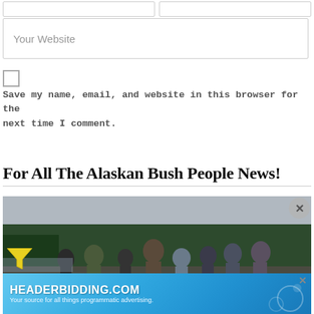[Figure (screenshot): Two empty form input boxes side by side at the top of the page]
[Figure (screenshot): Website input field with placeholder text 'Your Website']
Save my name, email, and website in this browser for the next time I comment.
POST COMMENT
For All The Alaskan Bush People News!
[Figure (photo): A group of people standing outdoors near trees and a body of water — appears to be the cast of Alaskan Bush People]
[Figure (screenshot): Advertisement banner: HEADERBIDDING.COM — Your source for all things programmatic advertising.]